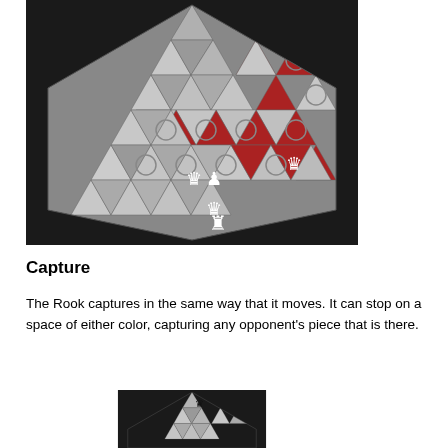[Figure (illustration): An isometric hexagonal/triangular game board with gray and red triangular cells. White chess rook piece near center-top area, white queen and rook pieces near bottom-center, white queen piece at lower-right area. The board has a dark background.]
Capture
The Rook captures in the same way that it moves. It can stop on a space of either color, capturing any opponent's piece that is there.
[Figure (illustration): Partial view of the same isometric triangular game board with a black queen piece near the top center, showing the top portion of the board on a dark background.]